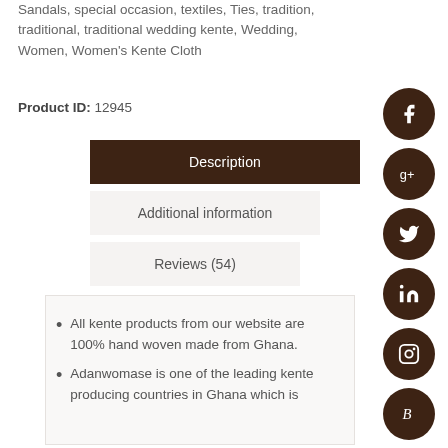Sandals, special occasion, textiles, Ties, tradition, traditional, traditional wedding kente, Wedding, Women, Women's Kente Cloth
Product ID: 12945
Description
Additional information
Reviews (54)
All kente products from our website are 100% hand woven made from Ghana.
Adanwomase is one of the leading kente producing countries in Ghana which is